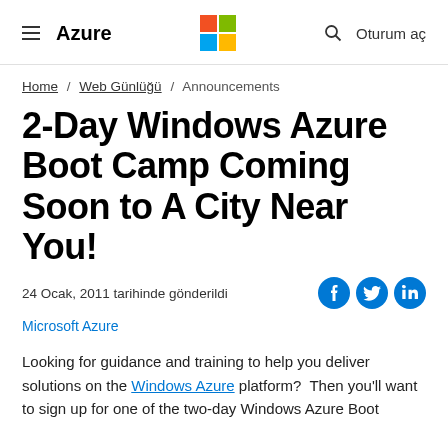≡ Azure  [Microsoft Logo]  🔍  Oturum aç
Home / Web Günlüğü / Announcements
2-Day Windows Azure Boot Camp Coming Soon to A City Near You!
24 Ocak, 2011 tarihinde gönderildi
Microsoft Azure
Looking for guidance and training to help you deliver solutions on the Windows Azure platform?  Then you'll want to sign up for one of the two-day Windows Azure Boot